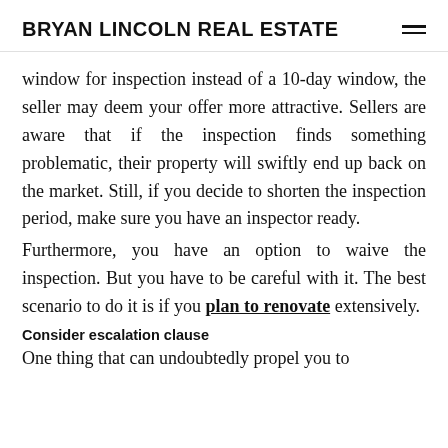BRYAN LINCOLN REAL ESTATE
window for inspection instead of a 10-day window, the seller may deem your offer more attractive. Sellers are aware that if the inspection finds something problematic, their property will swiftly end up back on the market. Still, if you decide to shorten the inspection period, make sure you have an inspector ready.
Furthermore, you have an option to waive the inspection. But you have to be careful with it. The best scenario to do it is if you plan to renovate extensively.
Consider escalation clause
One thing that can undoubtedly propel you to